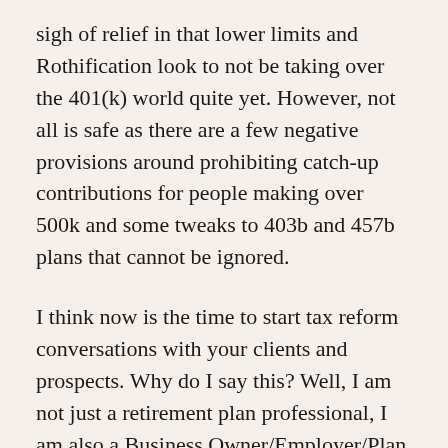sigh of relief in that lower limits and Rothification look to not be taking over the 401(k) world quite yet. However, not all is safe as there are a few negative provisions around prohibiting catch-up contributions for people making over 500k and some tweaks to 403b and 457b plans that cannot be ignored.
I think now is the time to start tax reform conversations with your clients and prospects. Why do I say this? Well, I am not just a retirement plan professional, I am also a Business Owner/Employer/Plan Sponsor...and I have found myself extremely interested in all areas of the tax reform proposal, not just the retirement plan area but also the income tax, corporate tax and home ownership deduction changes. People running companies have to always be navigating the rough